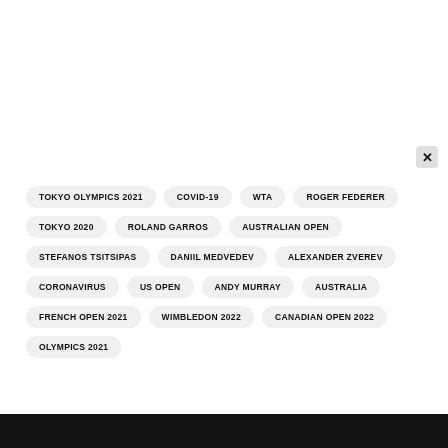TOKYO OLYMPICS 2021
COVID-19
WTA
ROGER FEDERER
TOKYO 2020
ROLAND GARROS
AUSTRALIAN OPEN
STEFANOS TSITSIPAS
DANIIL MEDVEDEV
ALEXANDER ZVEREV
CORONAVIRUS
US OPEN
ANDY MURRAY
AUSTRALIA
FRENCH OPEN 2021
WIMBLEDON 2022
CANADIAN OPEN 2022
OLYMPICS 2021